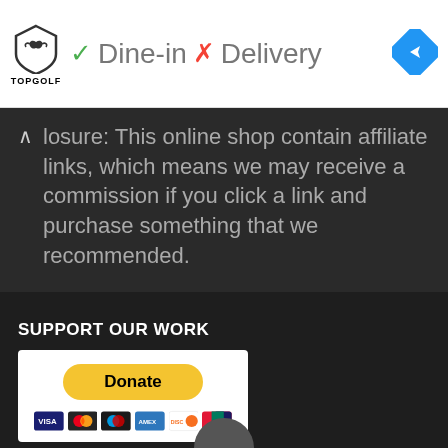[Figure (logo): Topgolf logo with shield/bird icon and TOPGOLF text below]
✓ Dine-in  ✗ Delivery
[Figure (other): Blue diamond navigation/directions icon]
▷
✗
^ losure: This online shop contain affiliate links, which means we may receive a commission if you click a link and purchase something that we recommended.
SUPPORT OUR WORK
[Figure (other): PayPal Donate button with yellow rounded rectangle and credit card logos (Visa, Mastercard, Maestro, Amex, Discover, UnionPay)]